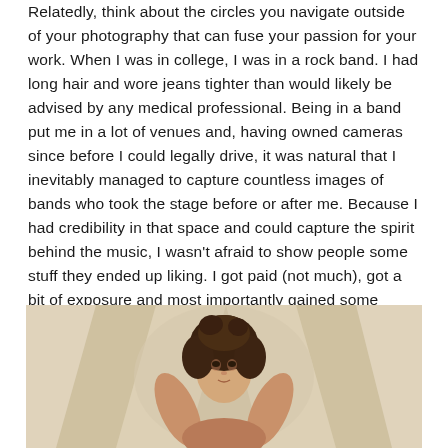Relatedly, think about the circles you navigate outside of your photography that can fuse your passion for your work. When I was in college, I was in a rock band. I had long hair and wore jeans tighter than would likely be advised by any medical professional. Being in a band put me in a lot of venues and, having owned cameras since before I could legally drive, it was natural that I inevitably managed to capture countless images of bands who took the stage before or after me. Because I had credibility in that space and could capture the spirit behind the music, I wasn't afraid to show people some stuff they ended up liking. I got paid (not much), got a bit of exposure and most importantly gained some confidence in my worth in the field.
[Figure (photo): Portrait photograph of a person with curly/wavy dark hair, arms raised, photographed against a draped fabric background in warm beige/tan tones]